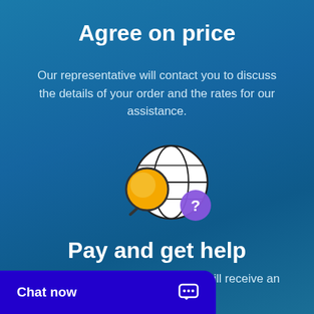Agree on price
Our representative will contact you to discuss the details of your order and the rates for our assistance.
[Figure (illustration): Illustration showing a magnifying glass with a gold/yellow circle lens, a globe/world icon, and a purple speech bubble with a question mark]
Pay and get help
When everything is agreed, you will receive an email we start working on